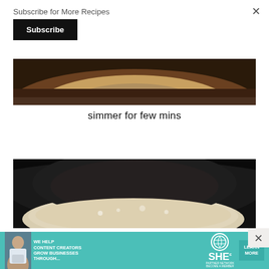Subscribe for More Recipes
[Figure (illustration): Black Subscribe button]
[Figure (photo): Partial view of a dark cooking pan from above, showing edges and inside of pan]
simmer for few mins
[Figure (photo): Top-down view of a dark pan with creamy white liquid/sauce simmering inside]
[Figure (infographic): SHE Media Partner Network advertisement banner: 'We help content creators grow businesses through...' with Learn More button]